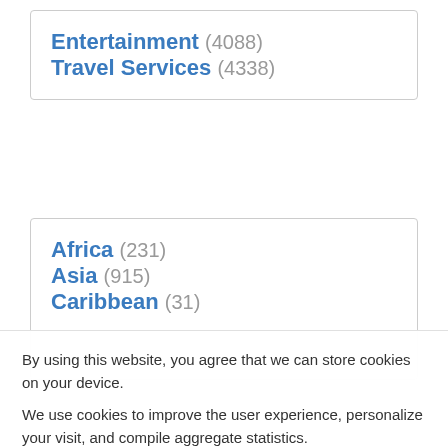Entertainment (4088)
Travel Services (4338)
Africa (231)
Asia (915)
Caribbean (31)
By using this website, you agree that we can store cookies on your device.
We use cookies to improve the user experience, personalize your visit, and compile aggregate statistics.
More information can be found in our Privacy Policy .
Accept
Decline